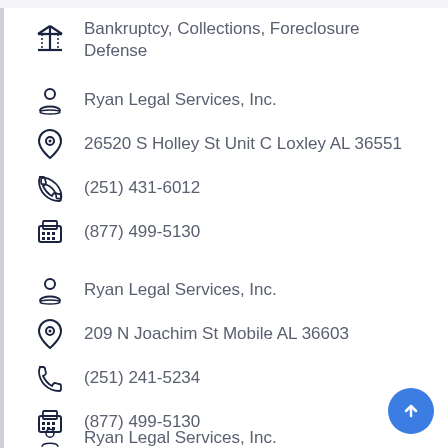Bankruptcy, Collections, Foreclosure Defense
Ryan Legal Services, Inc.
26520 S Holley St Unit C Loxley AL 36551
(251) 431-6012
(877) 499-5130
Ryan Legal Services, Inc.
209 N Joachim St Mobile AL 36603
(251) 241-5234
(877) 499-5130
Ryan Legal Services, Inc.